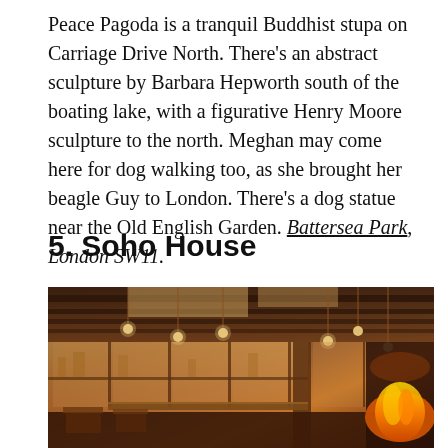Peace Pagoda is a tranquil Buddhist stupa on Carriage Drive North. There's an abstract sculpture by Barbara Hepworth south of the boating lake, with a figurative Henry Moore sculpture to the north. Meghan may come here for dog walking too, as she brought her beagle Guy to London. There's a dog statue near the Old English Garden. Battersea Park, London SW11.
5. Soho House
[Figure (photo): Interior photo of Soho House showing a warm, wood-panelled rooftop restaurant/bar with pendant lights hanging from exposed wooden ceiling beams, large windows overlooking a city skyline at dusk, dining tables and chairs, and a fireplace with open flames on the right side.]